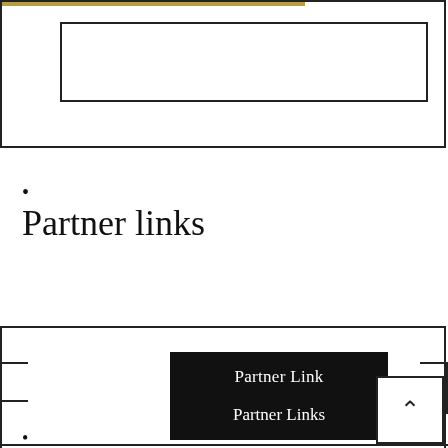[Figure (screenshot): Top bordered box with inner rectangle, gold bar across top portion]
•
Partner links
Partner Link
Partner Links
•
Partner links (partial, cut off)